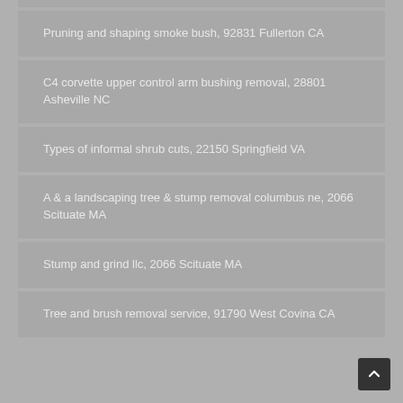Pruning and shaping smoke bush, 92831 Fullerton CA
C4 corvette upper control arm bushing removal, 28801 Asheville NC
Types of informal shrub cuts, 22150 Springfield VA
A & a landscaping tree & stump removal columbus ne, 2066 Scituate MA
Stump and grind llc, 2066 Scituate MA
Tree and brush removal service, 91790 West Covina CA